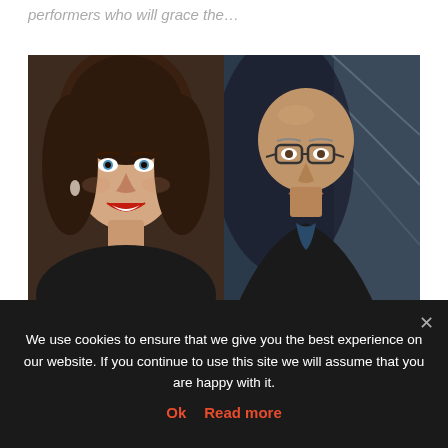performers who will grace the…
[Figure (photo): Two headshot photos side by side: left is a young woman with curly brown hair and red lipstick smiling; right is an older bald man with glasses smiling, in a dark jacket.]
The Stoller Hall
JESS DANDY AND MARTIN
We use cookies to ensure that we give you the best experience on our website. If you continue to use this site we will assume that you are happy with it.
Ok   Read more